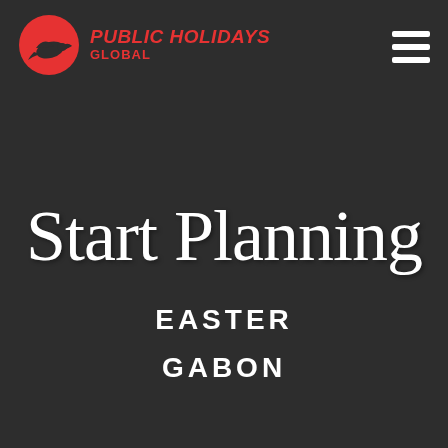[Figure (logo): Public Holidays Global logo: red circle with bird/plane silhouette, bold red italic text PUBLIC HOLIDAYS on top line, GLOBAL below in smaller red text]
[Figure (other): Hamburger menu icon: three white horizontal bars stacked]
Start Planning
EASTER
GABON